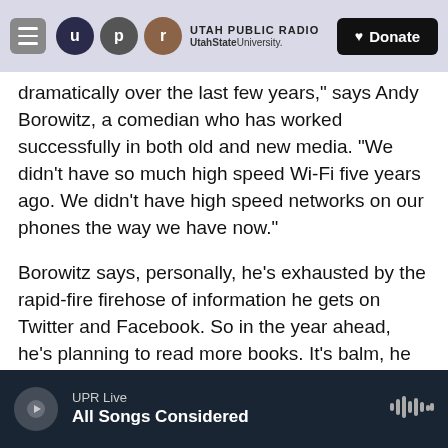Utah Public Radio — UtahState University | Donate
dramatically over the last few years," says Andy Borowitz, a comedian who has worked successfully in both old and new media. "We didn't have so much high speed Wi-Fi five years ago. We didn't have high speed networks on our phones the way we have now."
Borowitz says, personally, he's exhausted by the rapid-fire firehose of information he gets on Twitter and Facebook. So in the year ahead, he's planning to read more books. It's balm, he says, for his over-stimulated brain.
Copyright 2021 NPR. To see more, visit
UPR Live — All Songs Considered